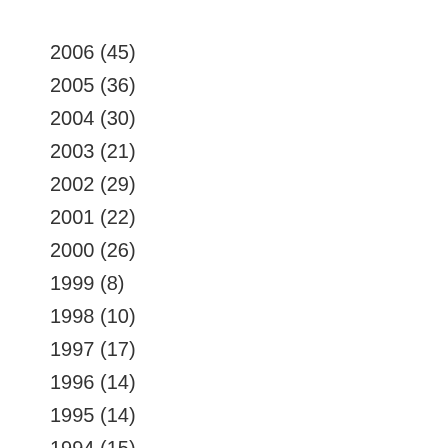2006 (45)
2005 (36)
2004 (30)
2003 (21)
2002 (29)
2001 (22)
2000 (26)
1999 (8)
1998 (10)
1997 (17)
1996 (14)
1995 (14)
1994 (15)
1993 (11)
1992 (9)
1991 (2)